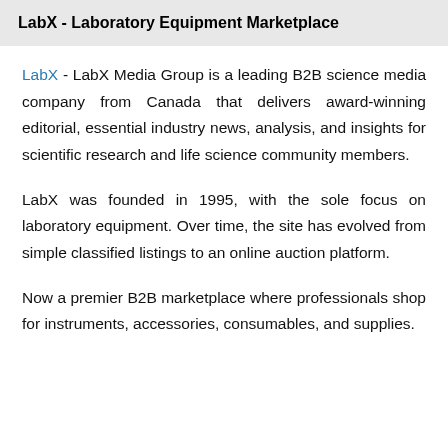LabX - Laboratory Equipment Marketplace
LabX - LabX Media Group is a leading B2B science media company from Canada that delivers award-winning editorial, essential industry news, analysis, and insights for scientific research and life science community members.
LabX was founded in 1995, with the sole focus on laboratory equipment. Over time, the site has evolved from simple classified listings to an online auction platform.
Now a premier B2B marketplace where professionals shop for instruments, accessories, consumables, and supplies.